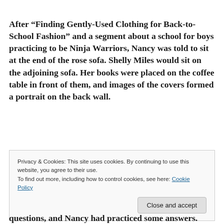After “Finding Gently-Used Clothing for Back-to-School Fashion” and a segment about a school for boys practicing to be Ninja Warriors, Nancy was told to sit at the end of the rose sofa. Shelly Miles would sit on the adjoining sofa. Her books were placed on the coffee table in front of them, and images of the covers formed a portrait on the back wall.
Privacy & Cookies: This site uses cookies. By continuing to use this website, you agree to their use.
To find out more, including how to control cookies, see here: Cookie Policy
Close and accept
questions, and Nancy had practiced some answers.